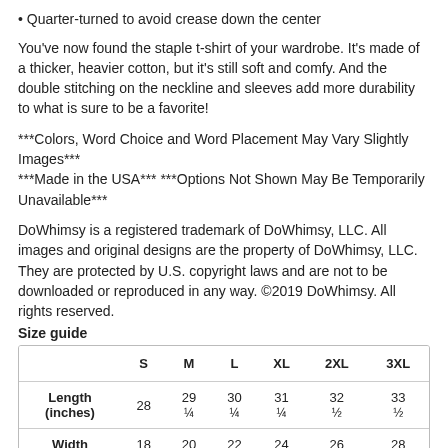Quarter-turned to avoid crease down the center
You've now found the staple t-shirt of your wardrobe. It's made of a thicker, heavier cotton, but it's still soft and comfy. And the double stitching on the neckline and sleeves add more durability to what is sure to be a favorite!
***Colors, Word Choice and Word Placement May Vary Slightly Images***
***Made in the USA*** ***Options Not Shown May Be Temporarily Unavailable***
DoWhimsy is a registered trademark of DoWhimsy, LLC. All images and original designs are the property of DoWhimsy, LLC. They are protected by U.S. copyright laws and are not to be downloaded or reproduced in any way. ©2019 DoWhimsy. All rights reserved.
Size guide
|  | S | M | L | XL | 2XL | 3XL |
| --- | --- | --- | --- | --- | --- | --- |
| Length (inches) | 28 | 29 ¼ | 30 ¼ | 31 ¼ | 32 ½ | 33 ½ |
| Width | 18 | 20 | 22 | 24 | 26 | 28 |